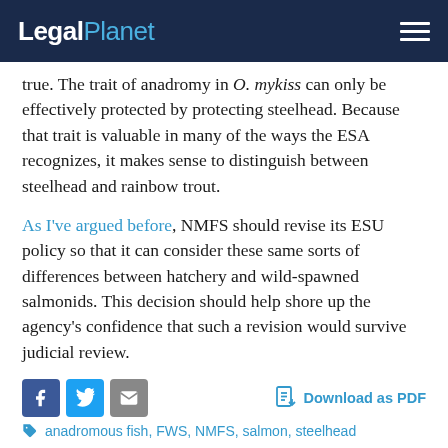LegalPlanet
true. The trait of anadromy in O. mykiss can only be effectively protected by protecting steelhead. Because that trait is valuable in many of the ways the ESA recognizes, it makes sense to distinguish between steelhead and rainbow trout.
As I’ve argued before, NMFS should revise its ESU policy so that it can consider these same sorts of differences between hatchery and wild-spawned salmonids. This decision should help shore up the agency’s confidence that such a revision would survive judicial review.
[Figure (infographic): Social sharing icons (Facebook, Twitter, Email) and Download as PDF link]
anadromous fish, FWS, NMFS, salmon, steelhead